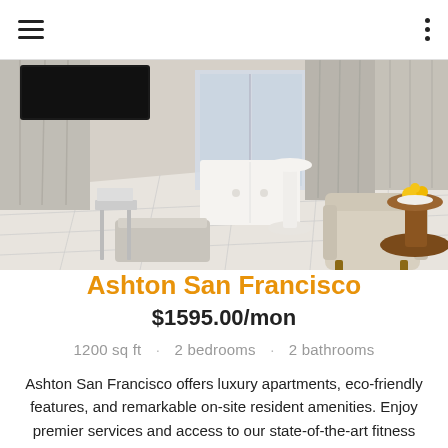[Figure (photo): Interior photo of a luxury apartment room with light grey walls, white tile floor, grey curtains, an upholstered bench, a patterned armchair, and a round wooden side table with yellow flowers.]
Ashton San Francisco
$1595.00/mon
1200 sq ft · 2 bedrooms · 2 bathrooms
Ashton San Francisco offers luxury apartments, eco-friendly features, and remarkable on-site resident amenities. Enjoy premier services and access to our state-of-the-art fitness center and bbq bbq area rooms about lots of amenities